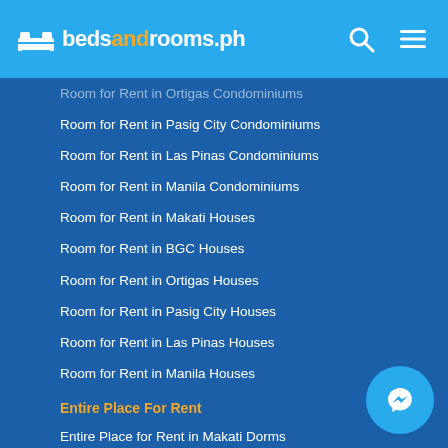bedsandrooms.ph
Room for Rent in Ortigas Condominiums
Room for Rent in Pasig City Condominiums
Room for Rent in Las Pinas Condominiums
Room for Rent in Manila Condominiums
Room for Rent in Makati Houses
Room for Rent in BGC Houses
Room for Rent in Ortigas Houses
Room for Rent in Pasig City Houses
Room for Rent in Las Pinas Houses
Room for Rent in Manila Houses
Entire Place For Rent
Entire Place for Rent in Makati Dorms
Entire Place for Rent in BGC Dorms
Entire Place for Rent in Ortigas Dorms
Entire Place for Rent in Pasig City Dorms